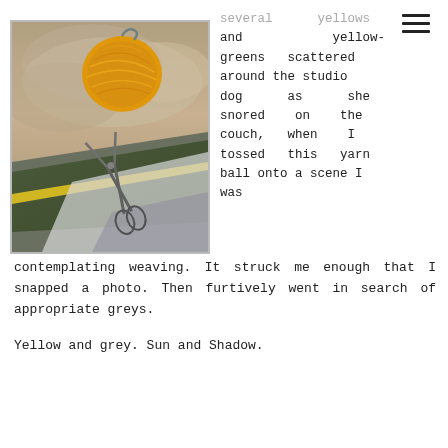[Figure (photo): A ball of yellow/orange yarn resting on top of fabric swatches and paper, with a pair of scissors visible. The background shows a dramatic cloudy sky scene printed on fabric or paper.]
several yellows and yellow-greens scattered around the studio dog as she snored on the couch, when I tossed this yarn ball onto a scene I was contemplating weaving. It struck me enough that I snapped a photo. Then furtively went in search of appropriate greys.
Yellow and grey. Sun and Shadow.